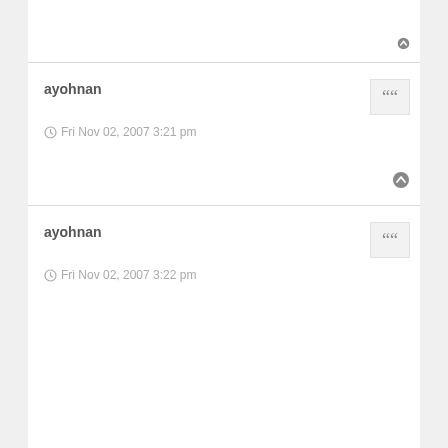ayohnan
Fri Nov 02, 2007 3:21 pm
ayohnan
Fri Nov 02, 2007 3:22 pm